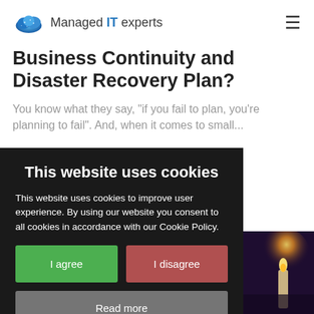Managed IT experts
Business Continuity and Disaster Recovery Plan?
You know what they say, "if you fail to plan, you're planning to fail". And, when it comes to small...
This website uses cookies
This website uses cookies to improve user experience. By using our website you consent to all cookies in accordance with our Cookie Policy.
I agree
I disagree
Read more
[Figure (photo): Dark background with a glowing candle or torch light in amber/orange, partially visible at bottom right of page]